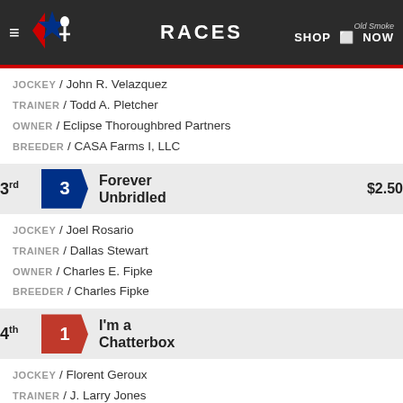RACES
JOCKEY / John R. Velazquez
TRAINER / Todd A. Pletcher
OWNER / Eclipse Thoroughbred Partners
BREEDER / CASA Farms I, LLC
3rd  3  Forever Unbridled  $2.50
JOCKEY / Joel Rosario
TRAINER / Dallas Stewart
OWNER / Charles E. Fipke
BREEDER / Charles Fipke
4th  1  I'm a Chatterbox
JOCKEY / Florent Geroux
TRAINER / J. Larry Jones
OWNER / Gray, Fletcher and Carolyn
BREEDER / Fletcher Gray & Carolyn Gray